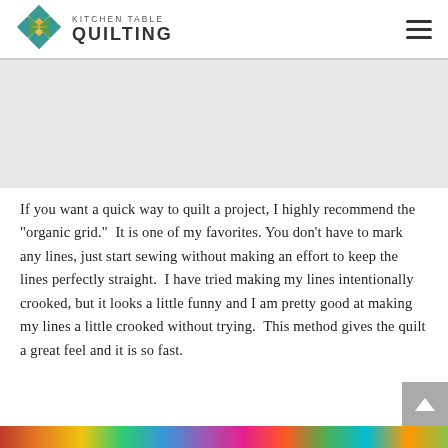KITCHEN TABLE QUILTING
[Figure (logo): Kitchen Table Quilting logo with geometric quilt block diamond shape in teal, gold, and green colors]
If you want a quick way to quilt a project, I highly recommend the "organic grid."  It is one of my favorites.  You don't have to mark any lines, just start sewing without making an effort to keep the lines perfectly straight.  I have tried making my lines intentionally crooked, but it looks a little funny and I am pretty good at making my lines a little crooked without trying.  This method gives the quilt a great feel and it is so fast.
[Figure (photo): Colorful quilt image strip at bottom of page]